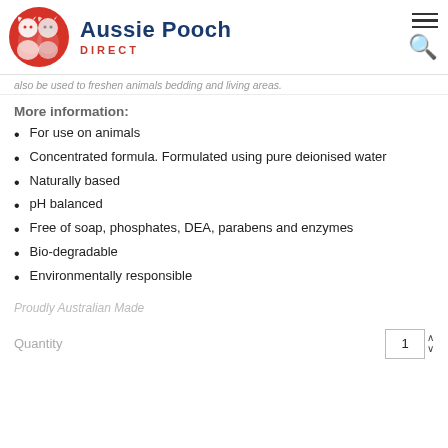Aussie Pooch Direct
…also be used to freshen animals bedding and living areas.
More information:
For use on animals
Concentrated formula. Formulated using pure deionised water
Naturally based
pH balanced
Free of soap, phosphates, DEA, parabens and enzymes
Bio-degradable
Environmentally responsible
Proudly Australian Made
Quantity  1